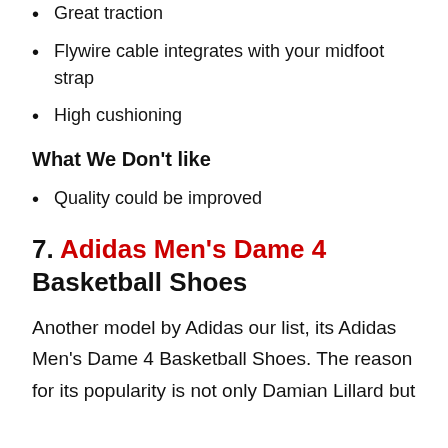Great traction
Flywire cable integrates with your midfoot strap
High cushioning
What We Don't like
Quality could be improved
7. Adidas Men's Dame 4 Basketball Shoes
Another model by Adidas our list, its Adidas Men's Dame 4 Basketball Shoes. The reason for its popularity is not only Damian Lillard but